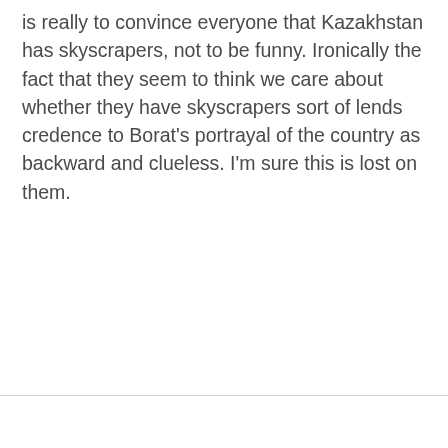is really to convince everyone that Kazakhstan has skyscrapers, not to be funny. Ironically the fact that they seem to think we care about whether they have skyscrapers sort of lends credence to Borat's portrayal of the country as backward and clueless. I'm sure this is lost on them.